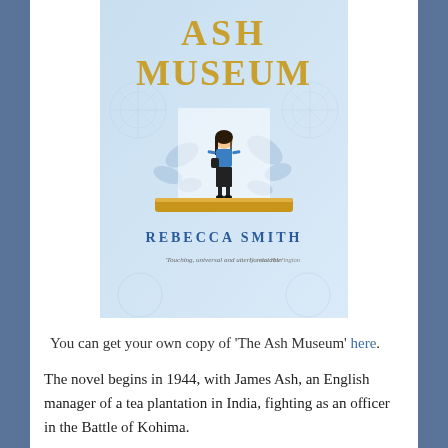[Figure (illustration): Book cover of 'The Ash Museum' by Rebecca Smith. Light blue background with white decorative floral patterns, gold text at top reading 'ASH MUSEUM', a small illustrated figure of a woman standing on a golden pedestal in the center, author name 'REBECCA SMITH' in blue text, and a quote at the bottom: 'Touching, universal and utterly relatable' Carmel Harrington.]
You can get your own copy of 'The Ash Museum' here.
The novel begins in 1944, with James Ash, an English manager of a tea plantation in India, fighting as an officer in the Battle of Kohima.